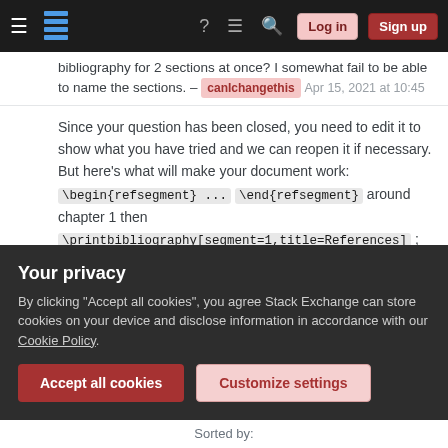Stack Exchange navigation bar with hamburger menu, logo, help, chat, search, Log in, Sign up buttons
bibliography for 2 sections at once? I somewhat fail to be able to name the sections. – canIchangethis Apr 15, 2021 at 10:45
Since your question has been closed, you need to edit it to show what you have tried and we can reopen it if necessary. But here's what will make your document work: \begin{refsegment} ... \end{refsegment} around chapter 1 then \printbibliography[segment=1,title=References] ; same thing around chapter 2 and then \printbibliography[segment=2,title=References] etc. Then at the end just use \printbibliography and all references will be
Your privacy
By clicking "Accept all cookies", you agree Stack Exchange can store cookies on your device and disclose information in accordance with our Cookie Policy.
Accept all cookies   Customize settings
Sorted by: